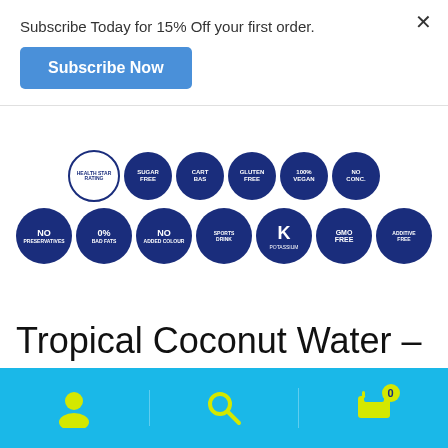Subscribe Today for 15% Off your first order.
Subscribe Now
[Figure (illustration): Two rows of dark blue circular badge icons with white text and icons: top row includes health star rating, sugar-free, cart/bas, gluten free, 100% vegan, no concentrate; bottom row includes NO preservatives, 0% bad fats, NO added colour, sports drink, K potassium, GMO free, additive free]
Tropical Coconut Water – Mango, Passionfruit, and Pineapple
[Figure (illustration): Bottom navigation bar with cyan/blue background showing three icons in yellow: person/account icon, search magnifier icon, shopping cart icon with badge showing 0]